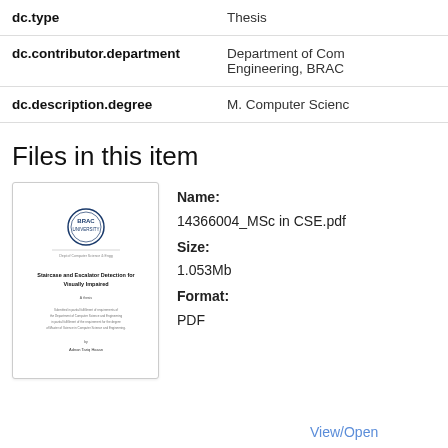| Field | Value |
| --- | --- |
| dc.type | Thesis |
| dc.contributor.department | Department of Computer Engineering, BRAC |
| dc.description.degree | M. Computer Science |
Files in this item
[Figure (screenshot): Thumbnail of thesis PDF cover page showing BRAC University logo and title 'Staircase and Escalator Detection for Visually Impaired']
Name: 14366004_MSc in CSE.pdf Size: 1.053Mb Format: PDF
View/Open